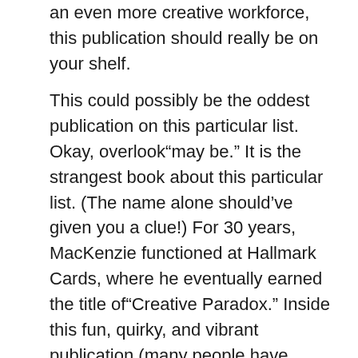an even more creative workforce, this publication should really be on your shelf.
This could possibly be the oddest publication on this particular list. Okay, overlook“may be.” It is the strangest book about this particular list. (The name alone should’ve given you a clue!) For 30 years, MacKenzie functioned at Hallmark Cards, where he eventually earned the title of“Creative Paradox.” Inside this fun, quirky, and vibrant publication (many people have mentioned it as their favourite publication on corporate creativity), he describes why the phrase“corporate creativity” is an oxymoron–also offers a method through the creativity road blocks that are natural portion of business forms.
Mind Requirements: 1 2 Principles for Surviving and Thriving at the Office, Home, and College , from John Medina. What in the world is a book about mental performance, written by way of a molecular biologist,